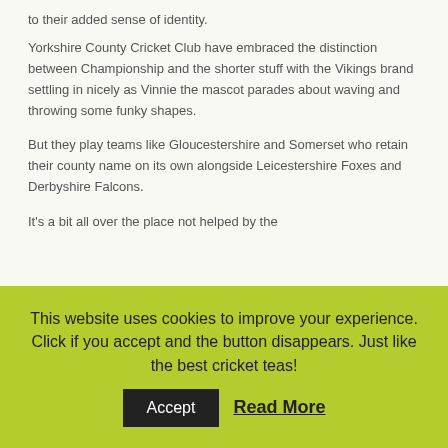to their added sense of identity.
Yorkshire County Cricket Club have embraced the distinction between Championship and the shorter stuff with the Vikings brand settling in nicely as Vinnie the mascot parades about waving and throwing some funky shapes.
But they play teams like Gloucestershire and Somerset who retain their county name on its own alongside Leicestershire Foxes and Derbyshire Falcons.
It's a bit all over the place not helped by the
This website uses cookies to improve your experience. Click if you accept and the button disappears. Just like the best cricket teas!